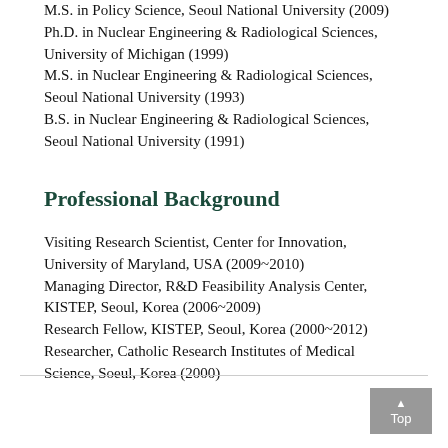M.S. in Policy Science, Seoul National University (2009)
Ph.D. in Nuclear Engineering & Radiological Sciences, University of Michigan (1999)
M.S. in Nuclear Engineering & Radiological Sciences, Seoul National University (1993)
B.S. in Nuclear Engineering & Radiological Sciences, Seoul National University (1991)
Professional Background
Visiting Research Scientist, Center for Innovation, University of Maryland, USA (2009~2010)
Managing Director, R&D Feasibility Analysis Center, KISTEP, Seoul, Korea (2006~2009)
Research Fellow, KISTEP, Seoul, Korea (2000~2012)
Researcher, Catholic Research Institutes of Medical Science, Soeul, Korea (2000)
Top